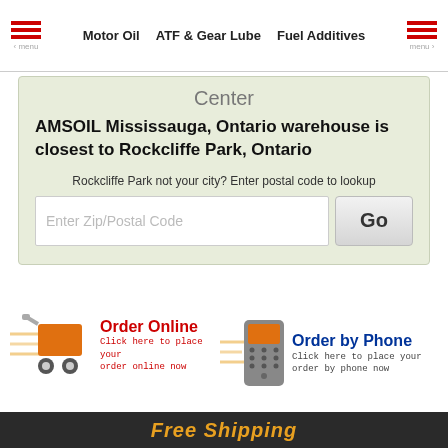Motor Oil  ATF & Gear Lube  Fuel Additives
Center
AMSOIL Mississauga, Ontario warehouse is closest to Rockcliffe Park, Ontario
Rockcliffe Park not your city? Enter postal code to lookup
[Figure (screenshot): Zip/Postal Code input field with Go button]
[Figure (infographic): Order Online banner with shopping cart icon - Click here to place your order online now]
[Figure (infographic): Order by Phone banner with mobile phone icon - Click here to place your order by phone now]
Free Shipping